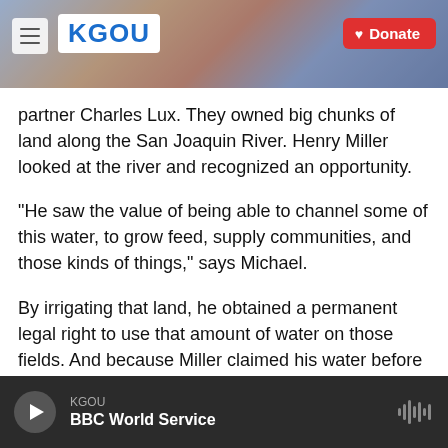[Figure (screenshot): KGOU radio station website header with logo, hamburger menu, and red Donate button over a cityscape photo]
partner Charles Lux. They owned big chunks of land along the San Joaquin River. Henry Miller looked at the river and recognized an opportunity.
"He saw the value of being able to channel some of this water, to grow feed, supply communities, and those kinds of things," says Michael.
By irrigating that land, he obtained a permanent legal right to use that amount of water on those fields. And because Miller claimed his water before anyone else, this land — a small piece of which is now Cannon Michael's land — has what's called
KGOU  BBC World Service